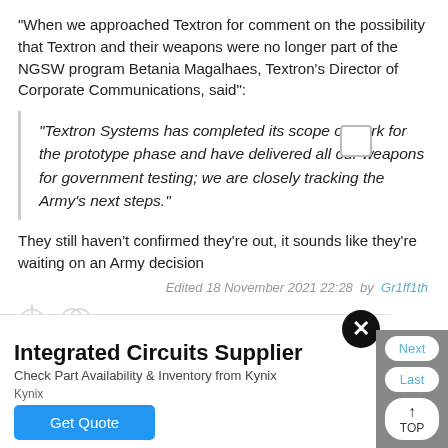"When we approached Textron for comment on the possibility that Textron and their weapons were no longer part of the NGSW program Betania Magalhaes, Textron's Director of Corporate Communications, said":
"Textron Systems has completed its scope of work for the prototype phase and have delivered all our weapons for government testing; we are closely tracking the Army's next steps."
They still haven't confirmed they're out, it sounds like they're waiting on an Army decision
Edited 18 November 2021 22:28 by Gr1ff1th
[Figure (screenshot): Advertisement for Integrated Circuits Supplier by Kynix with Get Quote button]
Next  Last  TOP